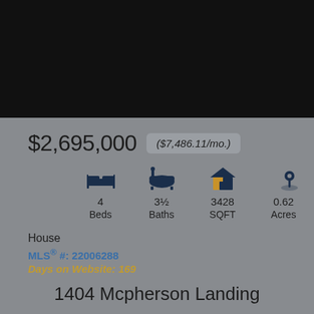[Figure (photo): Black photo area of property listing image (cropped/dark)]
$2,695,000   ($7,486.11/mo.)
4 Beds   3½ Baths   3428 SQFT   0.62 Acres
House
MLS® #: 22006288
Days on Website: 169
1404 Mcpherson Landing